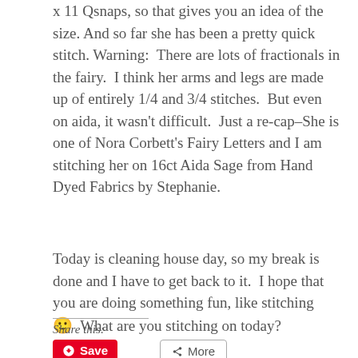x 11 Qsnaps, so that gives you an idea of the size.  And so far she has been a pretty quick stitch.  Warning:  There are lots of fractionals in the fairy.  I think her arms and legs are made up of entirely 1/4 and 3/4 stitches.  But even on aida, it wasn't difficult.  Just a re-cap–She is one of Nora Corbett's Fairy Letters and I am stitching her on 16ct Aida Sage from Hand Dyed Fabrics by Stephanie.
Today is cleaning house day, so my break is done and I have to get back to it.  I hope that you are doing something fun, like stitching 🙂  What are you stitching on today?
Share this: